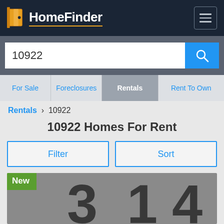HomeFinder
10922
For Sale
Foreclosures
Rentals
Rent To Own
Rentals > 10922
10922 Homes For Rent
Filter
Sort
[Figure (photo): House number 314 metal address numbers on a gray background with a green 'New' badge overlay]